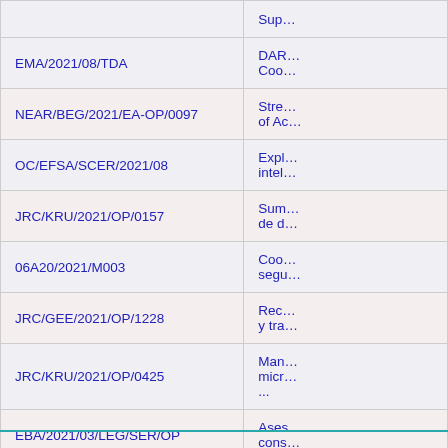| Reference | Title (truncated) |
| --- | --- |
|  | Sup… |
| EMA/2021/08/TDA | DAR… Coo… |
| NEAR/BEG/2021/EA-OP/0097 | Stre… of Ac… |
| OC/EFSA/SCER/2021/08 | Expl… intel… |
| JRC/KRU/2021/OP/0157 | Sum… de d… |
| 06A20/2021/M003 | Coo… segu… |
| JRC/GEE/2021/OP/1228 | Rec… y tra… |
| JRC/KRU/2021/OP/0425 | Man… micr… ... |
| EBA/2021/03/LEG/SER/OP | Ases… cons… |
| INTPA/BJL/2021/EA-RP/0028 | Com… – St… |